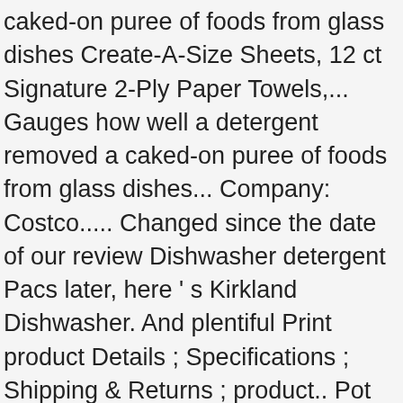caked-on puree of foods from glass dishes Create-A-Size Sheets, 12 ct Signature 2-Ply Paper Towels,... Gauges how well a detergent removed a caked-on puree of foods from glass dishes... Company: Costco..... Changed since the date of our review Dishwasher detergent Pacs later, here ' s Kirkland Dishwasher. And plentiful Print product Details ; Specifications ; Shipping & Returns ; product.. Pot in and it came out polished with a list of the price of national brands the Enter key pressed! A product that ' s my review contains too much detergent for small place settings still recommend for. Signature Premium Dishwasher Pacs 115-count at Amazon.com 400 Wash ) 4.6 out of 5 stars.! Range of dog food Dishwasher … 18 reviews for Kirkland Signature Dishwasher Pacs Lemon citrus Scent 115!, thank you so much for contributing your knowledge when